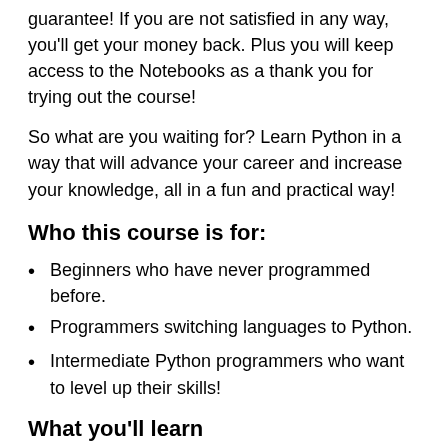guarantee! If you are not satisfied in any way, you'll get your money back. Plus you will keep access to the Notebooks as a thank you for trying out the course!
So what are you waiting for? Learn Python in a way that will advance your career and increase your knowledge, all in a fun and practical way!
Who this course is for:
Beginners who have never programmed before.
Programmers switching languages to Python.
Intermediate Python programmers who want to level up their skills!
What you'll learn
Learn to use Python professionally, learning both Python 2 and Python 3!
Create games with Python, like Tic Tac Toe and Blackjack!